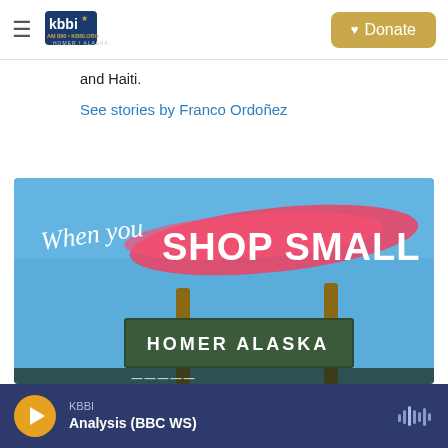KBBI AM 890 KBBI.ORG HOMER ALASKA | Donate
and Haiti.
See stories by Franco Ordoñez
[Figure (photo): Promotional image with text 'When you SHOP SMALL' overlaid on a blue sky background with a red brushstroke, showing a Homer Alaska sign below.]
KBBI | Analysis (BBC WS)